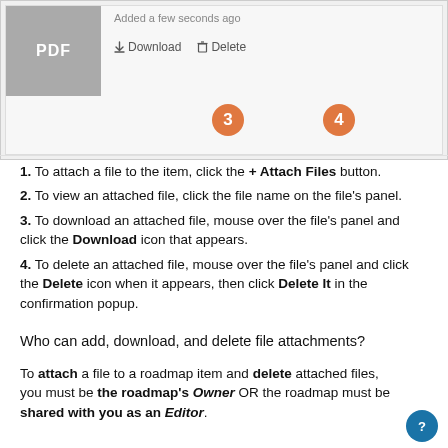[Figure (screenshot): Screenshot showing a PDF file attachment panel with 'Added a few seconds ago' text, Download and Delete action buttons, and orange numbered badges 3 and 4 pointing to the Download and Delete buttons respectively.]
1. To attach a file to the item, click the + Attach Files button.
2. To view an attached file, click the file name on the file's panel.
3. To download an attached file, mouse over the file's panel and click the Download icon that appears.
4. To delete an attached file, mouse over the file's panel and click the Delete icon when it appears, then click Delete It in the confirmation popup.
Who can add, download, and delete file attachments?
To attach a file to a roadmap item and delete attached files, you must be the roadmap's Owner OR the roadmap must be shared with you as an Editor.